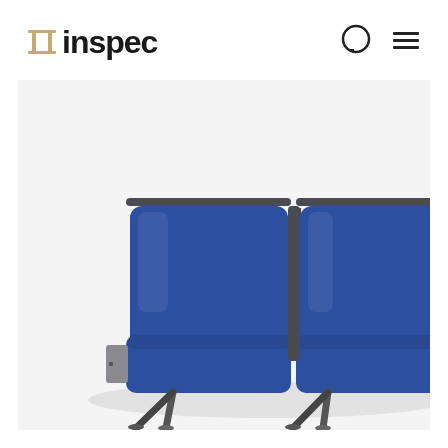Inspec logo with search and menu navigation icons
[Figure (photo): Product photo of a three-seat waiting room bench with blue upholstered seat pads and backrests, dark metal legs, and a metal end panel, photographed against a white background.]